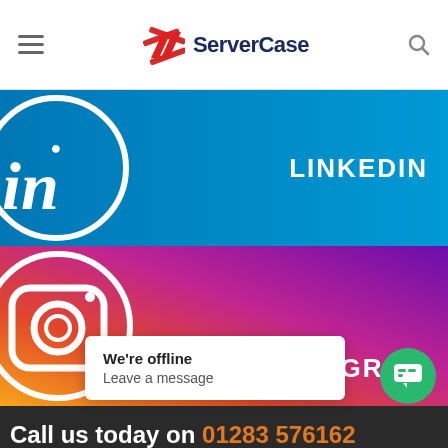ServerCase
[Figure (illustration): LinkedIn social media banner with blue background, LinkedIn 'in' logo in white circle on left, and LINKEDIN text on right]
[Figure (illustration): Instagram social media banner with gradient background (orange/red to purple), Instagram camera icon in circle on left, and INSTAGRAM text on right]
Call us today on 01283 576162 to talk directly to our server specialists
We're offline
Leave a message